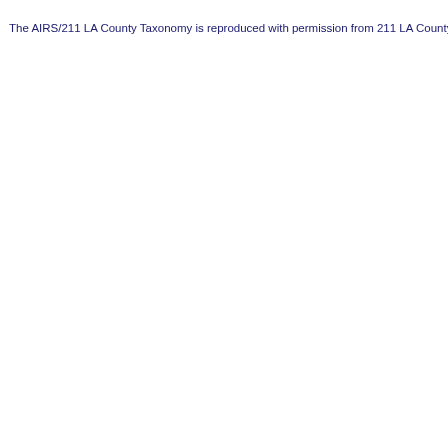The AIRS/211 LA County Taxonomy is reproduced with permission from 211 LA County